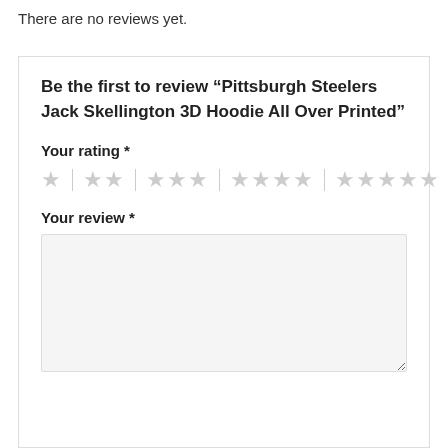There are no reviews yet.
Be the first to review “Pittsburgh Steelers Jack Skellington 3D Hoodie All Over Printed”
Your rating *
[Figure (other): Star rating selector with 5 groups of stars (1 to 5 stars), all shown in light gray, separated by vertical dividers]
Your review *
[Figure (other): Empty text area input for writing a review, light gray background]